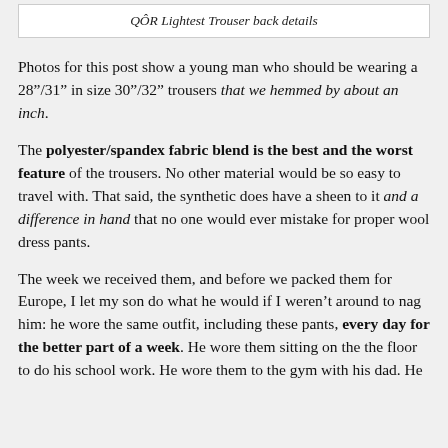QÔR Lightest Trouser back details
Photos for this post show a young man who should be wearing a 28"/31" in size 30"/32" trousers that we hemmed by about an inch.
The polyester/spandex fabric blend is the best and the worst feature of the trousers. No other material would be so easy to travel with. That said, the synthetic does have a sheen to it and a difference in hand that no one would ever mistake for proper wool dress pants.
The week we received them, and before we packed them for Europe, I let my son do what he would if I weren't around to nag him: he wore the same outfit, including these pants, every day for the better part of a week. He wore them sitting on the the floor to do his school work. He wore them to the gym with his dad. He